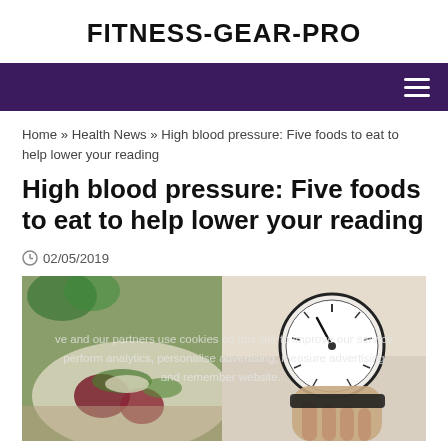FITNESS-GEAR-PRO
Home » Health News » High blood pressure: Five foods to eat to help lower your reading
High blood pressure: Five foods to eat to help lower your reading
02/05/2019
[Figure (photo): Photo showing a plate of healthy salad food on the left and a person holding a blood pressure gauge/monitor on the right, with a cookie consent overlay text partially visible]